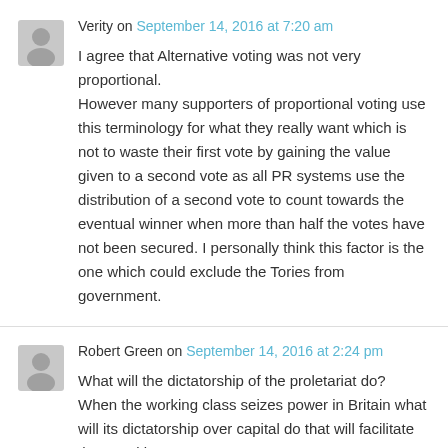Verity on September 14, 2016 at 7:20 am
I agree that Alternative voting was not very proportional.
However many supporters of proportional voting use this terminology for what they really want which is not to waste their first vote by gaining the value given to a second vote as all PR systems use the distribution of a second vote to count towards the eventual winner when more than half the votes have not been secured. I personally think this factor is the one which could exclude the Tories from government.
Robert Green on September 14, 2016 at 2:24 pm
What will the dictatorship of the proletariat do?
When the working class seizes power in Britain what will its dictatorship over capital do that will facilitate the transition to